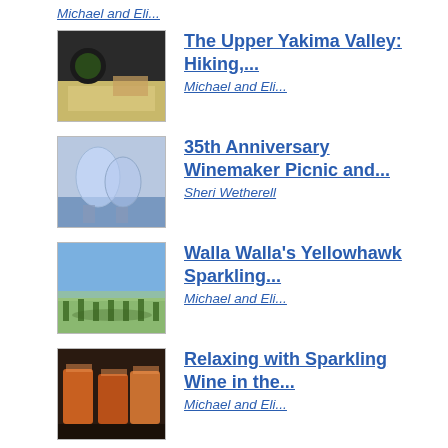Michael and Eli...
The Upper Yakima Valley: Hiking,...
Michael and Eli...
35th Anniversary Winemaker Picnic and...
Sheri Wetherell
Walla Walla's Yellowhawk Sparkling...
Michael and Eli...
Relaxing with Sparkling Wine in the...
Michael and Eli...
Island Hopping: Hidden Gems on Camano...
Michael and Eli...